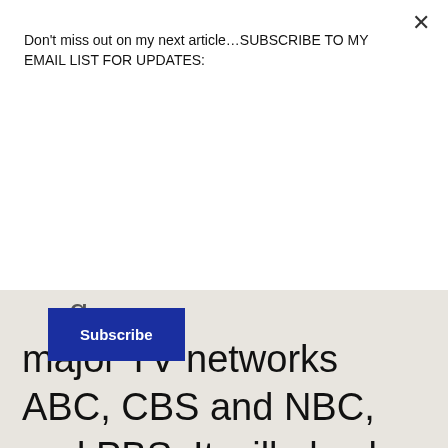Don't miss out on my next article…SUBSCRIBE TO MY EMAIL LIST FOR UPDATES:
Subscribe
major TV networks ABC, CBS and NBC, and PBS. It will also be live on CSPAN (cable) and CNN will stream it live at CNN.com without requiring a cable login. It can also be viewed live on the Select Committee's YouTube Channel. Many media outlets will also